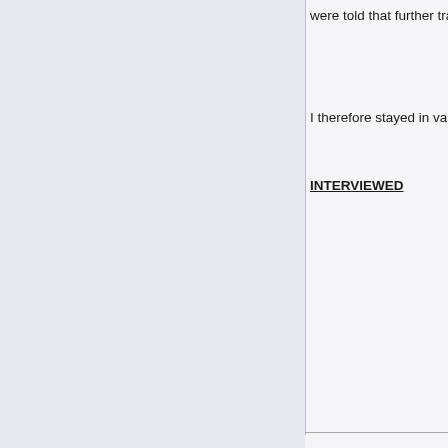were told that further travelling involved too gr
I therefore stayed in various places in t
INTERVIEWED
[Figure (photo): Portrait photo of an elderly smiling man with glasses and white/grey hair, wearing a blue denim jacket over a collared shirt, standing in front of what appears to be an aircraft. A green circular button with an upward chevron arrow is overlaid in the bottom-right of the photo.]